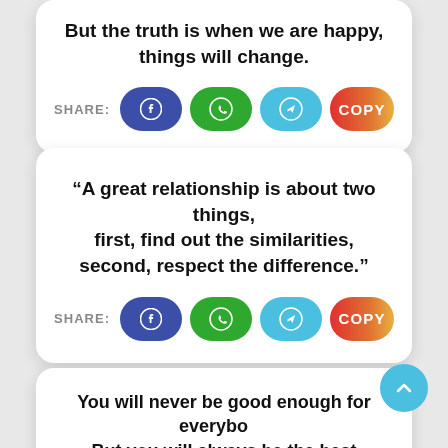But the truth is when we are happy, things will change.
[Figure (infographic): Share buttons row: Facebook, WhatsApp, Telegram, Copy]
“A great relationship is about two things, first, find out the similarities, second, respect the difference.”
[Figure (infographic): Share buttons row: Facebook, WhatsApp, Telegram, Copy]
You will never be good enough for everybody, But you will always be the best for someone who really appreciates you.